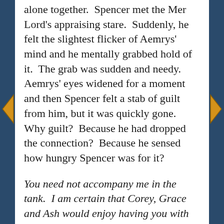alone together.  Spencer met the Mer Lord's appraising stare.  Suddenly, he felt the slightest flicker of Aemrys' mind and he mentally grabbed hold of it.  The grab was sudden and needy. Aemrys' eyes widened for a moment and then Spencer felt a stab of guilt from him, but it was quickly gone.  Why guilt?  Because he had dropped the connection?  Because he sensed how hungry Spencer was for it?
You need not accompany me in the tank.  I am certain that Corey, Grace and Ash would enjoy having you with them, Aemrys sent.
You shouldn't be alone in there. Spencer gestured to the tank and he could already feel the cold press of darkness of the interior of it.  You shouldn't be in there at all.